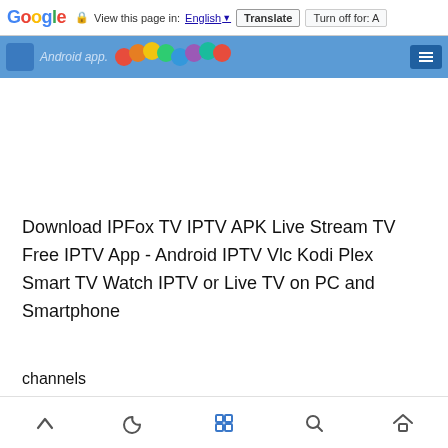Google  View this page in: English [▼]  Translate  Turn off for: A
[Figure (screenshot): App banner strip with Android app text, colorful balls decoration, and menu button]
Download IPFox TV IPTV APK Live Stream TV Free IPTV App - Android IPTV Vlc Kodi Plex Smart TV Watch IPTV or Live TV on PC and Smartphone
channels
Bottom navigation bar with up arrow, moon, grid, search, and home icons